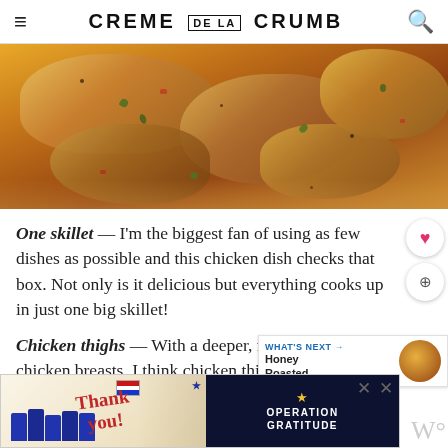CREME DE LA CRUMB
[Figure (photo): Close-up photo of seasoned chicken thighs cooking in a skillet with herbs and sauce, golden-orange tones]
One skillet — I'm the biggest fan of using as few dishes as possible and this chicken dish checks that box. Not only is it delicious but everything cooks up in just one big skillet!
Chicken thighs — With a deeper, richer flavor than chicken breasts, I think chicken thighs are perfect in this dish. They're cooked in sun-dried...
[Figure (screenshot): Advertisement banner: Thank You with US flag and Operation Gratitude military charity ad]